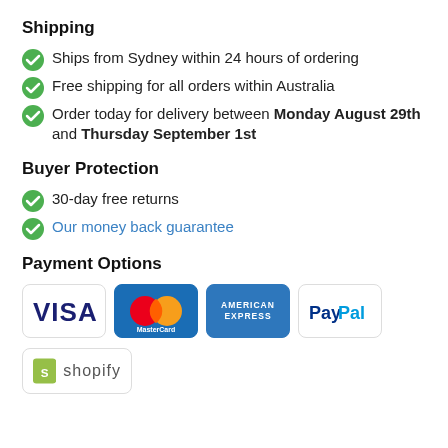Shipping
Ships from Sydney within 24 hours of ordering
Free shipping for all orders within Australia
Order today for delivery between Monday August 29th and Thursday September 1st
Buyer Protection
30-day free returns
Our money back guarantee
Payment Options
[Figure (logo): Payment logos: Visa, MasterCard, American Express, PayPal]
[Figure (logo): Shopify logo]